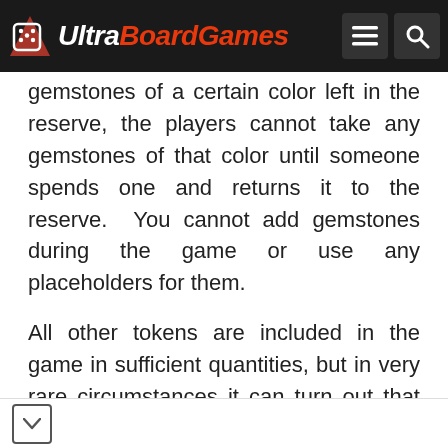UltraBoardGames
gemstones of a certain color left in the reserve, the players cannot take any gemstones of that color until someone spends one and returns it to the reserve. You cannot add gemstones during the game or use any placeholders for them.
All other tokens are included in the game in sufficient quantities, but in very rare circumstances it can turn out that there are not enough. In this case, the players can use coins or other placeholders to stand for them.